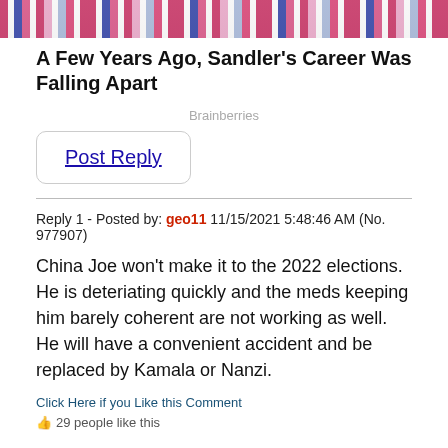[Figure (photo): Partial photo of a man in a striped shirt, cropped at top]
A Few Years Ago, Sandler's Career Was Falling Apart
Brainberries
Post Reply
Reply 1 - Posted by: geo11 11/15/2021 5:48:46 AM (No. 977907)
China Joe won't make it to the 2022 elections. He is deteriating quickly and the meds keeping him barely coherent are not working as well. He will have a convenient accident and be replaced by Kamala or Nanzi.
Click Here if you Like this Comment
29 people like this